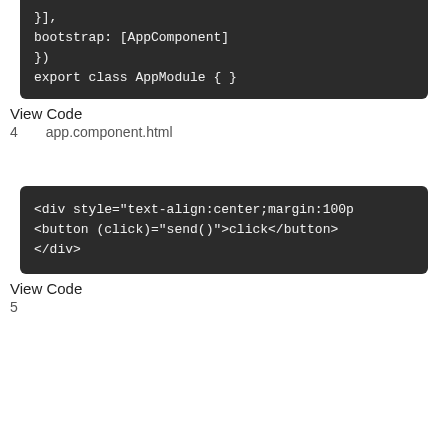[Figure (screenshot): Dark code block showing Angular module code: }], bootstrap: [AppComponent] }) export class AppModule { }]
View Code
4　app.component.html
[Figure (screenshot): Dark code block showing HTML template code: <div style="text-align:center;margin:100p <button (click)="send()">click</button> </div>]
View Code
5